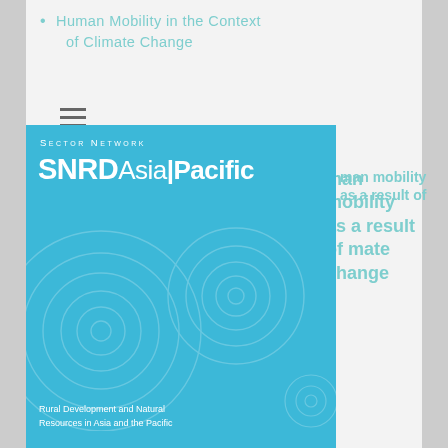Human Mobility in the Context of Climate Change
Human mobility as a result of climate change
[Figure (logo): SNRD Asia/Pacific Sector Network logo — blue box with circular pattern design, text reads: SECTOR NETWORK, SNRD Asia/Pacific, Rural Development and Natural Resources in Asia and the Pacific]
COUNTRY
Philippines , Pacific Island Countries
DURATION
2017 – 2023
COMMISSION AGENCY